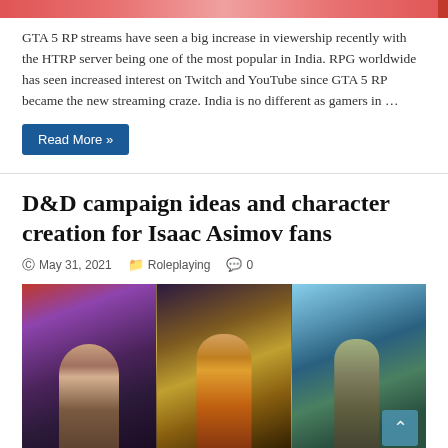[Figure (photo): Top banner image strip — partial view of a colorful header image, appears reddish/pink tones]
GTA 5 RP streams have seen a big increase in viewership recently with the HTRP server being one of the most popular in India. RPG worldwide has seen increased interest on Twitch and YouTube since GTA 5 RP became the new streaming craze. India is no different as gamers in …
Read More »
D&D campaign ideas and character creation for Isaac Asimov fans
May 31, 2021   Roleplaying   0
[Figure (photo): Three-panel fantasy/sci-fi book cover art image: left panel shows an elderly man seated in a mechanical chair in a purple sci-fi setting; center panel shows a colorful jester-like figure seated on a throne; right panel shows a young woman walking in a green alien landscape]